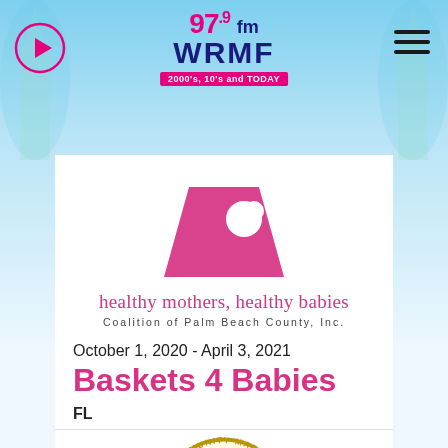[Figure (logo): 97.9 fm WRMF radio station logo with tagline '2000s, 10s and TODAY']
[Figure (logo): Healthy Mothers, Healthy Babies Coalition of Palm Beach County, Inc. logo with pink mother and child icon]
October 1, 2020 - April 3, 2021
Baskets 4 Babies
FL
[Figure (logo): SOS Community Marching Band circular logo with gold marching figure, dated 2018, FL]